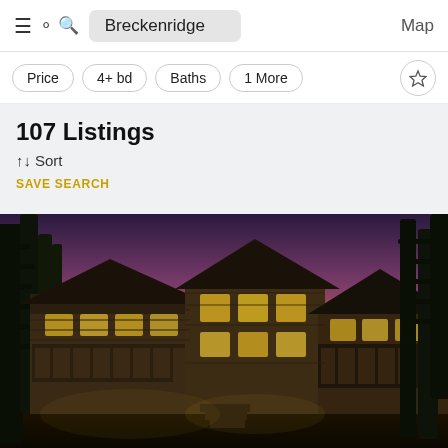Breckenridge  Map
Price  4+ bd  Baths  1 More
107 Listings
↑↓ Sort
SAVE SEARCH
[Figure (photo): Exterior photo of a large log-cabin style home at dusk with orange and purple sunset sky, tall pine trees, illuminated windows, stone and wood construction, multiple decks and balconies.]